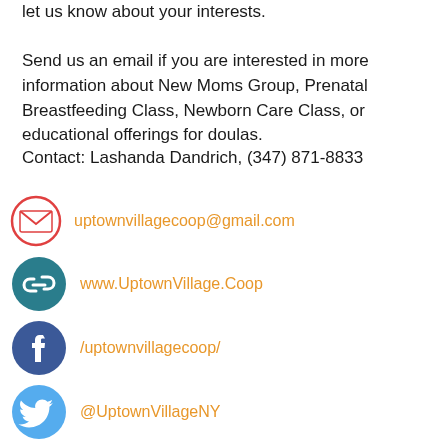let us know about your interests.

Send us an email if you are interested in more information about New Moms Group, Prenatal Breastfeeding Class, Newborn Care Class, or educational offerings for doulas.
Contact: Lashanda Dandrich, (347) 871-8833
uptownvillagecoop@gmail.com
www.UptownVillage.Coop
/uptownvillagecoop/
@UptownVillageNY
@UptownVillageNYC